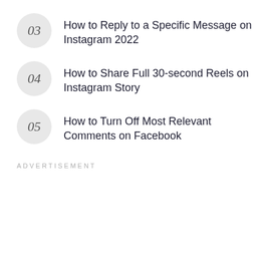03 How to Reply to a Specific Message on Instagram 2022
04 How to Share Full 30-second Reels on Instagram Story
05 How to Turn Off Most Relevant Comments on Facebook
ADVERTISEMENT